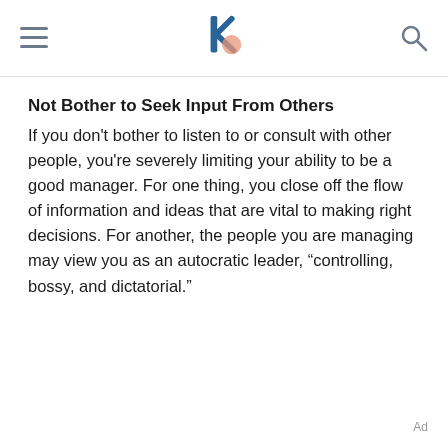Not Bother to Seek Input From Others
If you don't bother to listen to or consult with other people, you're severely limiting your ability to be a good manager. For one thing, you close off the flow of information and ideas that are vital to making right decisions. For another, the people you are managing may view you as an autocratic leader, “controlling, bossy, and dictatorial.”
Ad